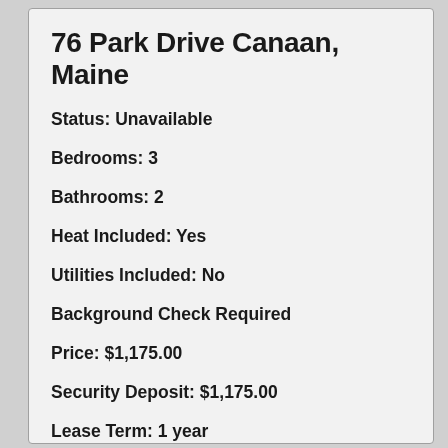76 Park Drive Canaan, Maine
Status: Unavailable
Bedrooms: 3
Bathrooms: 2
Heat Included: Yes
Utilities Included: No
Background Check Required
Price: $1,175.00
Security Deposit: $1,175.00
Lease Term: 1 year
Square Feet: 980